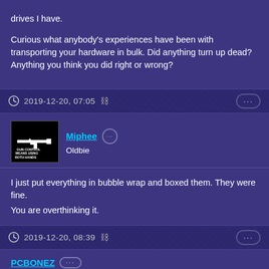drives I have.

Curious what anybody's experiences have been with transporting your hardware in bulk. Did anything turn up dead? Anything you think you did right or wrong?
2019-12-20, 07:05
Miphee
Oldbie
I just put everything in bubble wrap and boxed them. They were fine.
You are overthinking it.
2019-12-20, 08:39
PCBONEZ
Oldbie